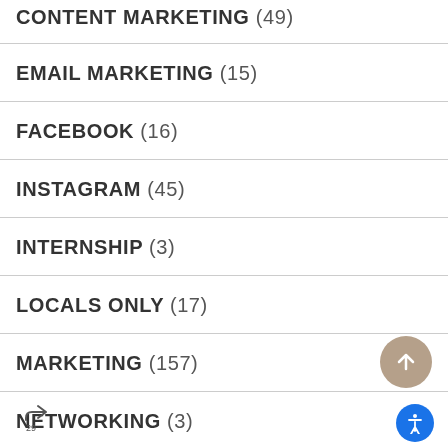CONTENT MARKETING (49)
EMAIL MARKETING (15)
FACEBOOK (16)
INSTAGRAM (45)
INTERNSHIP (3)
LOCALS ONLY (17)
MARKETING (157)
NETWORKING (3)
NTEREST (7)